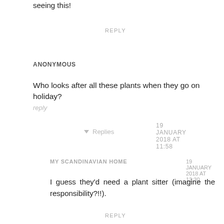seeing this!
REPLY
ANONYMOUS  19 January 2018 at 11:58
Who looks after all these plants when they go on holiday?
reply
▾ Replies
MY SCANDINAVIAN HOME  19 January 2018 at 13:30
I guess they'd need a plant sitter (imagine the responsibility?!!).
REPLY